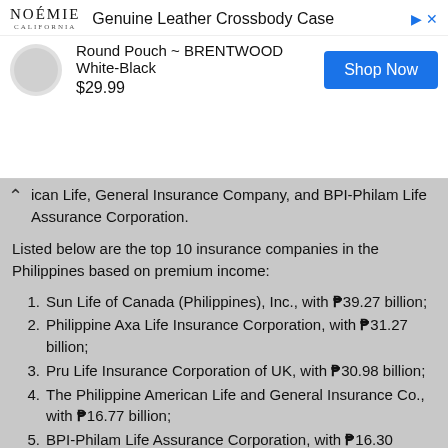[Figure (other): Advertisement banner for NOÉMIE Genuine Leather Crossbody Case - Round Pouch BRENTWOOD White-Black $29.99 with Shop Now button]
ican Life, General Insurance Company, and BPI-Philam Life Assurance Corporation.
Listed below are the top 10 insurance companies in the Philippines based on premium income:
Sun Life of Canada (Philippines), Inc., with ₱39.27 billion;
Philippine Axa Life Insurance Corporation, with ₱31.27 billion;
Pru Life Insurance Corporation of UK, with ₱30.98 billion;
The Philippine American Life and General Insurance Co., with ₱16.77 billion;
BPI-Philam Life Assurance Corporation, with ₱16.30 billion;